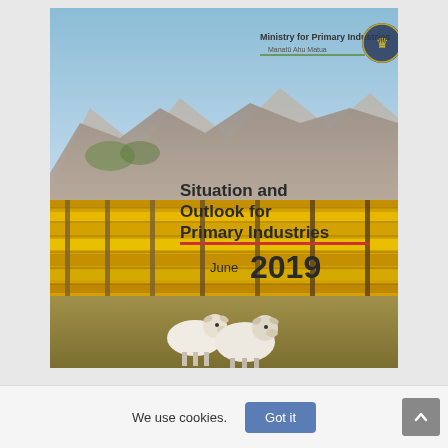[Figure (photo): Cover page of 'Situation and Outlook for Primary Industries June 2019' report by Ministry for Primary Industries (Manatū Ahu Matua), New Zealand. Shows a landscape photo of a vineyard with bright yellow foliage, mountains in the background under a blue sky, and two sheep in the foreground. The MPI logo and crest appear in the upper right. The report title and date 'June 2019' are overlaid on the right side of the image.]
We use cookies.
Got it